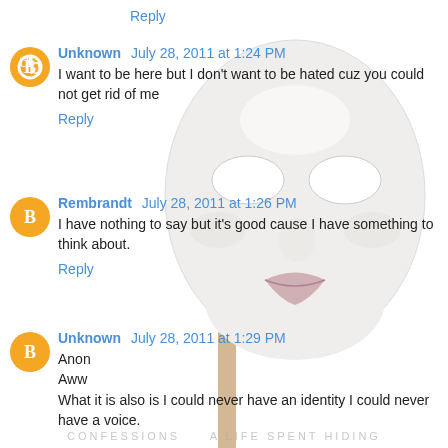Reply
Unknown July 28, 2011 at 1:24 PM
I want to be here but I don't want to be hated cuz you could not get rid of me
Reply
Rembrandt July 28, 2011 at 1:26 PM
I have nothing to say but it's good cause I have something to think about.
Reply
Unknown July 28, 2011 at 1:29 PM
Anon
Aww
What it is also is I could never have an identity I could never have a voice.
[Figure (illustration): White blank face mask on a stick, shown against white background, overlaid on blog comment section]
CONFESSIONS A LIFE SPENT HIDING